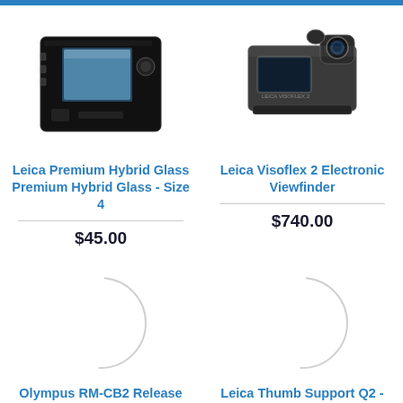[Figure (photo): Leica camera back with screen]
[Figure (photo): Leica Visoflex 2 Electronic Viewfinder accessory]
Leica Premium Hybrid Glass Premium Hybrid Glass - Size 4
$45.00
Leica Visoflex 2 Electronic Viewfinder
$740.00
[Figure (other): Loading spinner placeholder circle]
[Figure (other): Loading spinner placeholder circle]
Olympus RM-CB2 Release Cable
$49.95
Leica Thumb Support Q2 - Black
$255.00